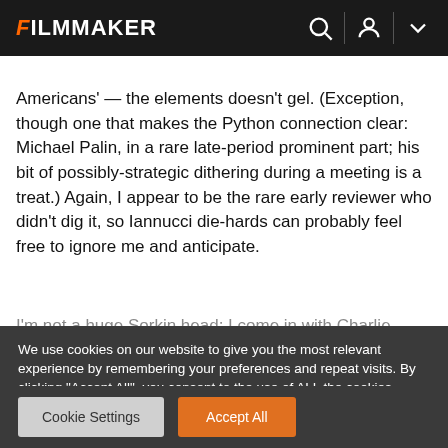FILMMAKER
Americans' — the elements doesn't gel. (Exception, though one that makes the Python connection clear: Michael Palin, in a rare late-period prominent part; his bit of possibly-strategic dithering during a meeting is a treat.) Again, I appear to be the rare early reviewer who didn't dig it, so Iannucci die-hards can probably feel free to ignore me and anticipate.
I'm not a huge Sorkin head; I come in with Charlie
We use cookies on our website to give you the most relevant experience by remembering your preferences and repeat visits. By clicking "Accept All", you consent to the use of ALL the cookies. However, you may visit "Cookie Settings" to provide a controlled consent.
Cookie Settings | Accept All